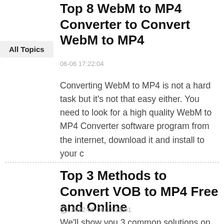Top 8 WebM to MP4 Converter to Convert WebM to MP4
All Topics
06-06 17:22:04
Converting WebM to MP4 is not a hard task but it's not that easy either. You need to look for a high quality WebM to MP4 Converter software program from the internet, download it and install to your c
Top 3 Methods to Convert VOB to MP4 Free and Online
2022-06-06 17:22:01
We'll show you 3 common solutions on how to convert VOB to MP4 free or online within 3